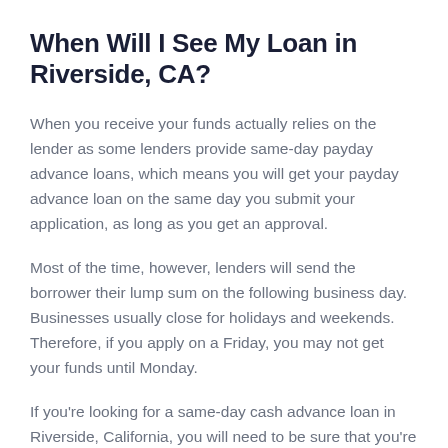When Will I See My Loan in Riverside, CA?
When you receive your funds actually relies on the lender as some lenders provide same-day payday advance loans, which means you will get your payday advance loan on the same day you submit your application, as long as you get an approval.
Most of the time, however, lenders will send the borrower their lump sum on the following business day. Businesses usually close for holidays and weekends. Therefore, if you apply on a Friday, you may not get your funds until Monday.
If you're looking for a same-day cash advance loan in Riverside, California, you will need to be sure that you're